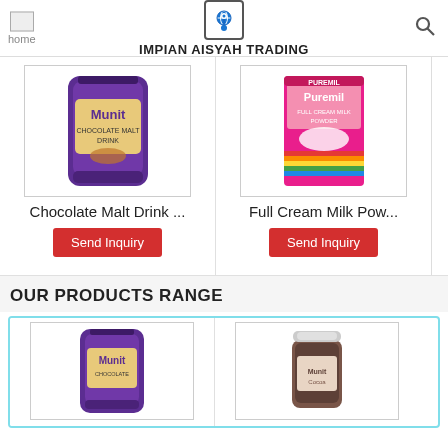home | IMPIAN AISYAH TRADING
[Figure (photo): Chocolate Malt Drink product (Muni bag)]
Chocolate Malt Drink ...
Send Inquiry
[Figure (photo): Full Cream Milk Powder product (Puremil box)]
Full Cream Milk Pow...
Send Inquiry
OUR PRODUCTS RANGE
[Figure (photo): Chocolate Malt Drink product (Muni bag) - second appearance]
[Figure (photo): Munit Cocoa product (jar)]